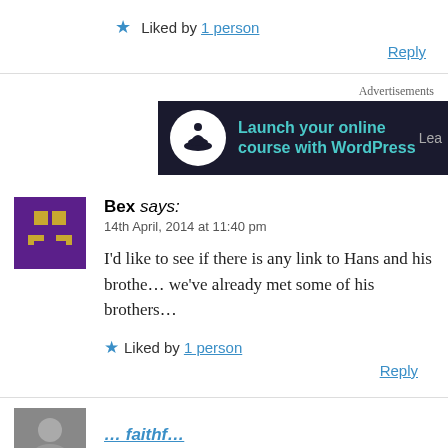★ Liked by 1 person
Reply
[Figure (other): Advertisement banner: Launch your online course with WordPress]
Bex says: 14th April, 2014 at 11:40 pm
I'd like to see if there is any link to Hans and his brothers... we've already met some of his brothers…
★ Liked by 1 person
Reply
(next commenter name, truncated)